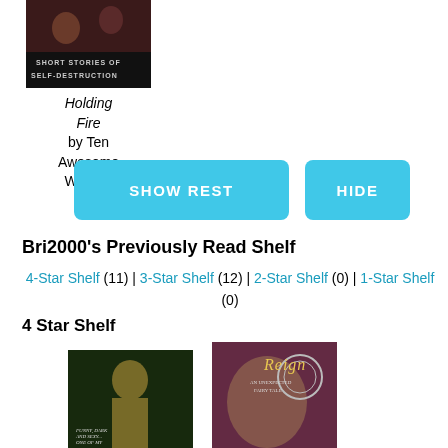[Figure (photo): Book cover for 'Holding Fire: Short Stories of Self-Destruction']
Holding Fire by Ten Awesome Writers!
SHOW REST
HIDE
Bri2000's Previously Read Shelf
4-Star Shelf (11) | 3-Star Shelf (12) | 2-Star Shelf (0) | 1-Star Shelf (0)
4 Star Shelf
[Figure (photo): Book cover (dark, golden figure)]
[Figure (photo): Book cover for 'Reign: An Unexpected Fairy Tale']